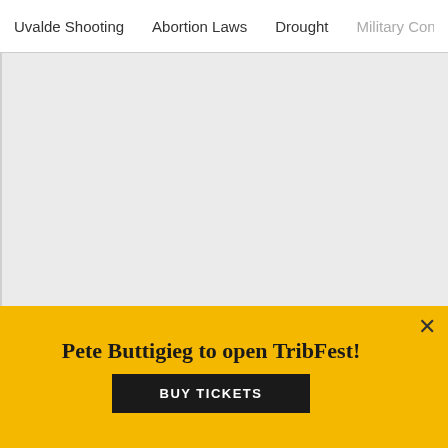Uvalde Shooting  Abortion Laws  Drought  Military Confinement
[Figure (other): Large light gray content area placeholder]
Pete Buttigieg to open TribFest!
BUY TICKETS